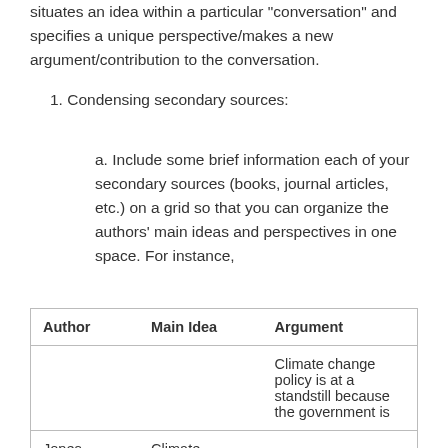situates an idea within a particular 'conversation' and specifies a unique perspective/makes a new argument/contribution to the conversation.
1. Condensing secondary sources:
a. Include some brief information each of your secondary sources (books, journal articles, etc.) on a grid so that you can organize the authors' main ideas and perspectives in one space. For instance,
| Author | Main Idea | Argument |
| --- | --- | --- |
|  |  | Climate change policy is at a standstill because the government is |
| Jones | Climate change policy |  |